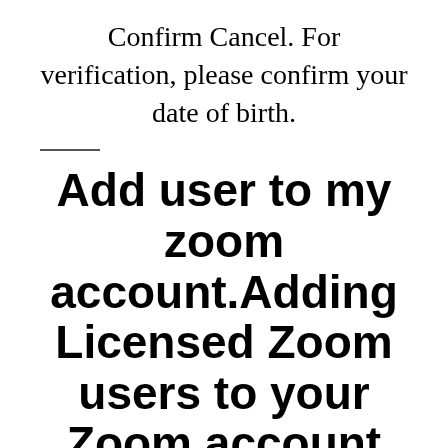Confirm Cancel. For verification, please confirm your date of birth.
Add user to my zoom account.Adding Licensed Zoom users to your Zoom account